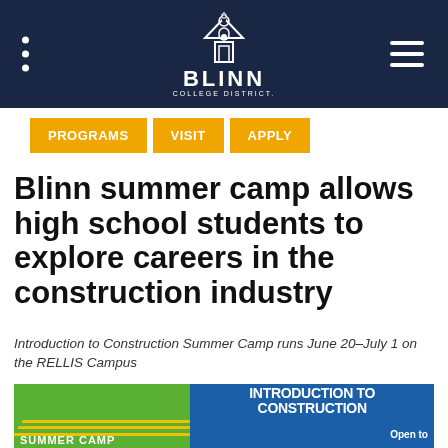Blinn College District
PROGRAMS
VISIT
APPLY
Blinn summer camp allows high school students to explore careers in the construction industry
Introduction to Construction Summer Camp runs June 20–July 1 on the RELLIS Campus
[Figure (infographic): Introduction to Construction Summer Camp banner with green and blue background, diagonal yellow stripes, white bold text reading INTRODUCTION TO CONSTRUCTION, SUMMER CAMP, and Open to]